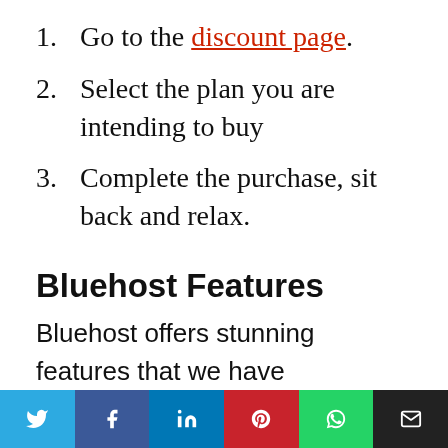1. Go to the discount page.
2. Select the plan you are intending to buy
3. Complete the purchase, sit back and relax.
Bluehost Features
Bluehost offers stunning features that we have summarised below:
24/7 WordPress support